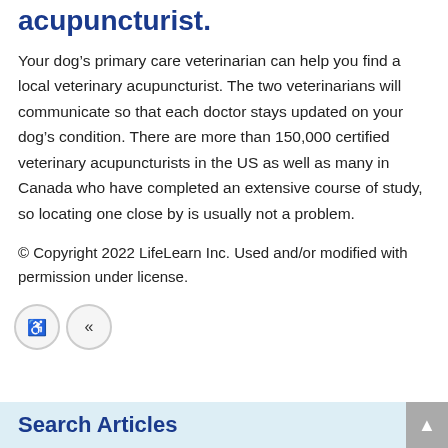acupuncturist.
Your dog's primary care veterinarian can help you find a local veterinary acupuncturist. The two veterinarians will communicate so that each doctor stays updated on your dog's condition. There are more than 150,000 certified veterinary acupuncturists in the US as well as many in Canada who have completed an extensive course of study, so locating one close by is usually not a problem.
© Copyright 2022 LifeLearn Inc. Used and/or modified with permission under license.
Search Articles